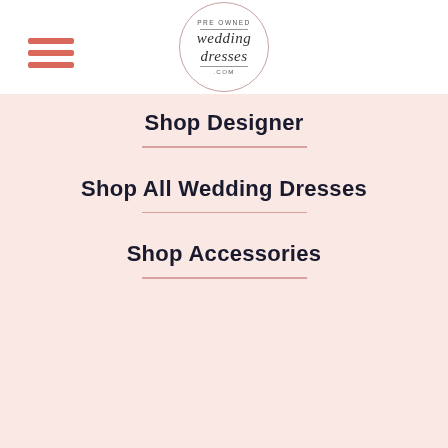[Figure (logo): Pre Owned Wedding Dresses .com circular logo with script lettering]
Shop Designer
Shop All Wedding Dresses
Shop Accessories